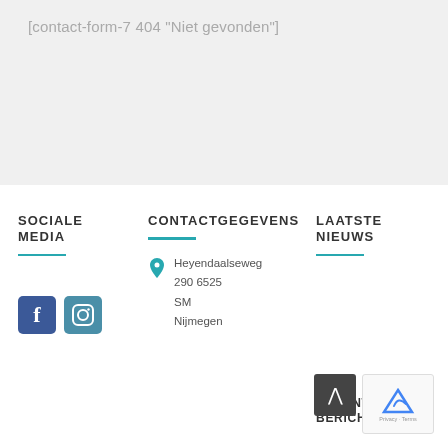[contact-form-7 404 "Niet gevonden"]
SOCIALE MEDIA
CONTACTGEGEVENS
LAATSTE NIEUWS
Heyendaalseweg
290 6525
SM
Nijmegen
RECENTE BERICHTEN